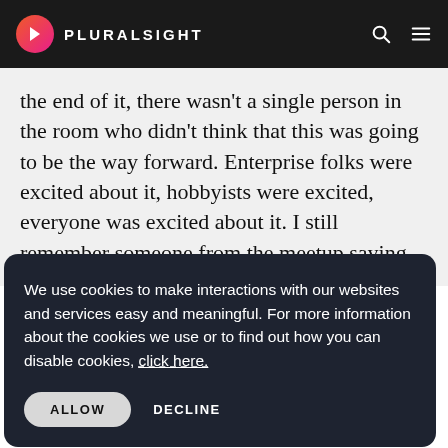PLURALSIGHT
the end of it, there wasn't a single person in the room who didn't think that this was going to be the way forward. Enterprise folks were excited about it, hobbyists were excited, everyone was excited about it. I still remember someone from the meetup saying to me, soon all the browsers
We use cookies to make interactions with our websites and services easy and meaningful. For more information about the cookies we use or to find out how you can disable cookies, click here.
ALLOW   DECLINE